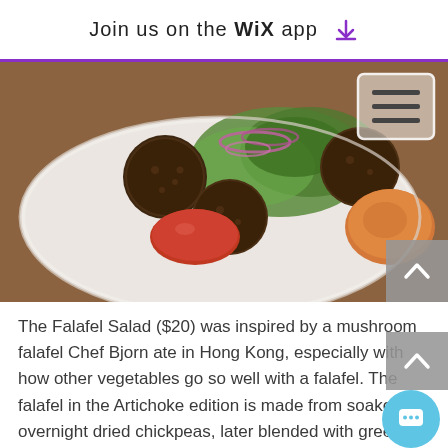Join us on the WiX app ⬇
[Figure (photo): A plate of falafel salad with fried falafel balls, sliced tomatoes, red onion rings, and green leafy salad on a white plate, on a wooden table background. A white menu icon button is visible in the top right corner.]
The Falafel Salad ($20) was inspired by a mushroom falafel Chef Bjorn ate in Hong Kong, especially with how other vegetables go so well with a falafel. The falafel in the Artichoke edition is made from soaked overnight dried chickpeas, later blended with green chilli, garlic, parslet, coriander and onions. To get a fluffy consistency, its blended further with cooked and chopped vegetables before its moulded then deep fried. Coarsely...